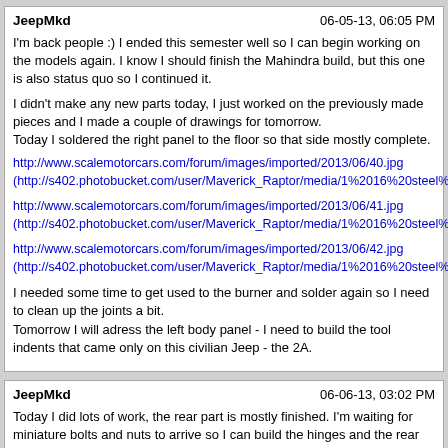JeepMkd | 06-05-13, 06:05 PM
I'm back people :) I ended this semester well so I can begin working on the models again. I know I should finish the Mahindra build, but this one is also status quo so I continued it.

I didn't make any new parts today, I just worked on the previously made pieces and I made a couple of drawings for tomorrow.
Today I soldered the right panel to the floor so that side mostly complete.

http://www.scalemotorcars.com/forum/images/imported/2013/06/40.jpg
(http://s402.photobucket.com/user/Maverick_Raptor/media/1%2016%20steel%20willy

http://www.scalemotorcars.com/forum/images/imported/2013/06/41.jpg
(http://s402.photobucket.com/user/Maverick_Raptor/media/1%2016%20steel%20willy

http://www.scalemotorcars.com/forum/images/imported/2013/06/42.jpg
(http://s402.photobucket.com/user/Maverick_Raptor/media/1%2016%20steel%20willy

I needed some time to get used to the burner and solder again so I need to clean up the joints a bit.
Tomorrow I will adress the left body panel - I need to build the tool indents that came only on this civilian Jeep - the 2A.
JeepMkd | 06-06-13, 03:02 PM
Today I did lots of work, the rear part is mostly finished. I'm waiting for miniature bolts and nuts to arrive so I can build the hinges and the rear tailgate.
http://www.scalemotorcars.com/forum/images/imported/2013/06/50.jpg
(http://s402.photobucket.com/user/Maverick_Raptor/media/1%2016%20steel%20willy

http://www.scalemotorcars.com/forum/images/imported/2013/06/51.jpg
(http://s402.photobucket.com/user/Maverick_Raptor/media/1%2016%20steel%20willy